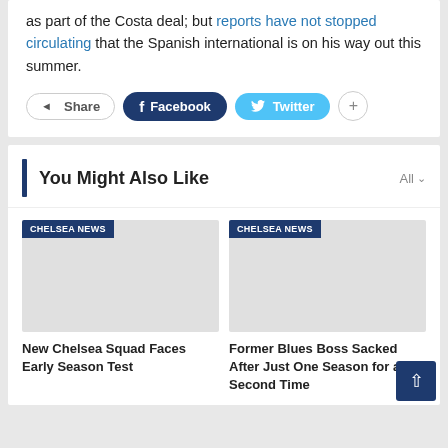as part of the Costa deal; but reports have not stopped circulating that the Spanish international is on his way out this summer.
Share | Facebook | Twitter | +
You Might Also Like
[Figure (photo): Placeholder image with CHELSEA NEWS tag]
New Chelsea Squad Faces Early Season Test
[Figure (photo): Placeholder image with CHELSEA NEWS tag]
Former Blues Boss Sacked After Just One Season for a Second Time